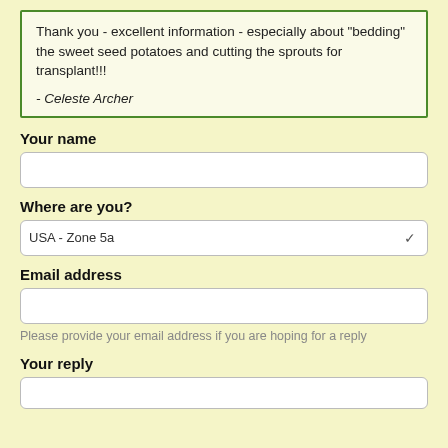Thank you - excellent information - especially about "bedding" the sweet seed potatoes and cutting the sprouts for transplant!!!

- Celeste Archer
Your name
Where are you?
USA - Zone 5a
Email address
Please provide your email address if you are hoping for a reply
Your reply